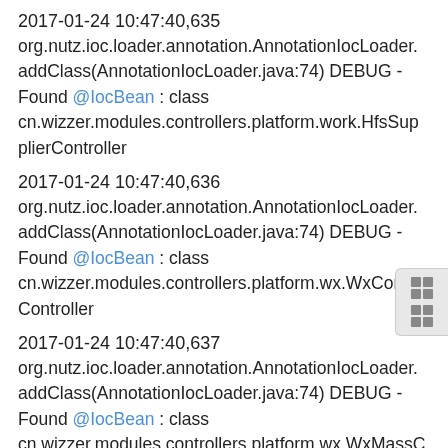2017-01-24 10:47:40,635 org.nutz.ioc.loader.annotation.AnnotationIocLoader.addClass(AnnotationIocLoader.java:74) DEBUG - Found @IocBean : class cn.wizzer.modules.controllers.platform.work.HfsSupplierController
2017-01-24 10:47:40,636 org.nutz.ioc.loader.annotation.AnnotationIocLoader.addClass(AnnotationIocLoader.java:74) DEBUG - Found @IocBean : class cn.wizzer.modules.controllers.platform.wx.WxConfigController
2017-01-24 10:47:40,637 org.nutz.ioc.loader.annotation.AnnotationIocLoader.addClass(AnnotationIocLoader.java:74) DEBUG - Found @IocBean : class cn.wizzer.modules.controllers.platform.wx.WxMassController